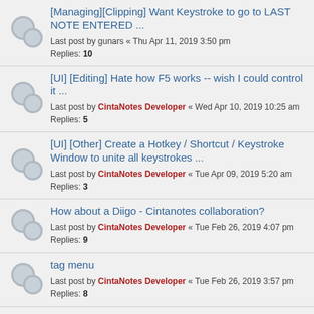[Managing][Clipping] Want Keystroke to go to LAST NOTE ENTERED ...
Last post by gunars « Thu Apr 11, 2019 3:50 pm
Replies: 10
[UI] [Editing] Hate how F5 works -- wish I could control it ...
Last post by CintaNotes Developer « Wed Apr 10, 2019 10:25 am
Replies: 5
[UI] [Other] Create a Hotkey / Shortcut / Keystroke Window to unite all keystrokes ...
Last post by CintaNotes Developer « Tue Apr 09, 2019 5:20 am
Replies: 3
How about a Diigo - Cintanotes collaboration?
Last post by CintaNotes Developer « Tue Feb 26, 2019 4:07 pm
Replies: 9
tag menu
Last post by CintaNotes Developer « Tue Feb 26, 2019 3:57 pm
Replies: 8
[Editing] Further batch routines - Editing multiple notes in one go
Last post by CintaNotes Developer « Wed Feb 13, 2019 12:15 pm
Replies: 1
[Import] and [Export] export as an html file with a ...